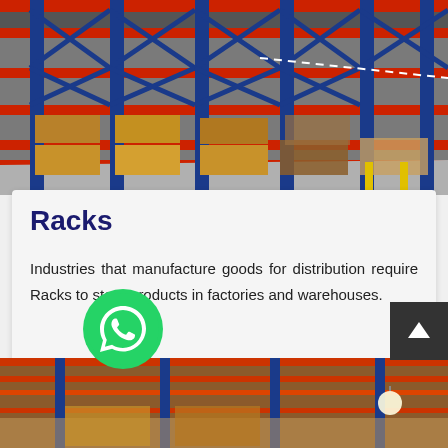[Figure (photo): Warehouse interior with tall blue and red metal storage racks filled with cardboard boxes and pallets of goods.]
Racks
Industries that manufacture goods for distribution require Racks to store products in factories and warehouses.
[Figure (logo): Green WhatsApp icon button (circular green background with white phone handset chat bubble logo).]
[Figure (photo): Partial warehouse interior view showing red metal shelving racks with boxes and a hanging light bulb, visible at bottom of page.]